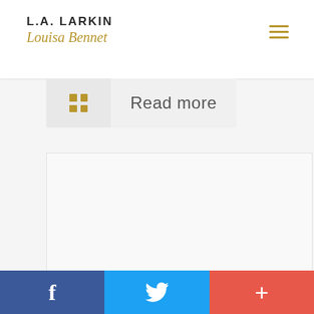L.A. LARKIN / Louisa Bennet
Read more
[Figure (other): Blank white/light grey content card area]
Facebook | Twitter | Plus social share buttons